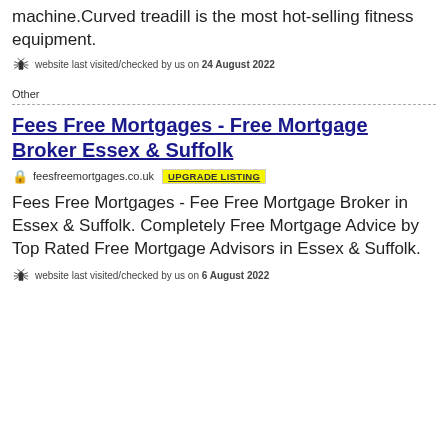machine.Curved treadill is the most hot-selling fitness equipment.
website last visited/checked by us on 24 August 2022
Other
Fees Free Mortgages - Free Mortgage Broker Essex & Suffolk
feesfreemortgages.co.uk  UPGRADE LISTING
Fees Free Mortgages - Fee Free Mortgage Broker in Essex & Suffolk. Completely Free Mortgage Advice by Top Rated Free Mortgage Advisors in Essex & Suffolk.
website last visited/checked by us on 6 August 2022